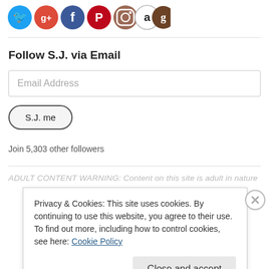[Figure (illustration): Row of social media icons: Twitter (blue bird), Google+ (red/green), Facebook (blue f), Pinterest (red P), Instagram (camera), Amazon (black a), Goodreads (brown g)]
Follow S.J. via Email
Email Address
S.J. me
Join 5,303 other followers
ADULT CONTENT WARNING: Content on this site is adult in nature
Privacy & Cookies: This site uses cookies. By continuing to use this website, you agree to their use.
To find out more, including how to control cookies, see here: Cookie Policy
Close and accept